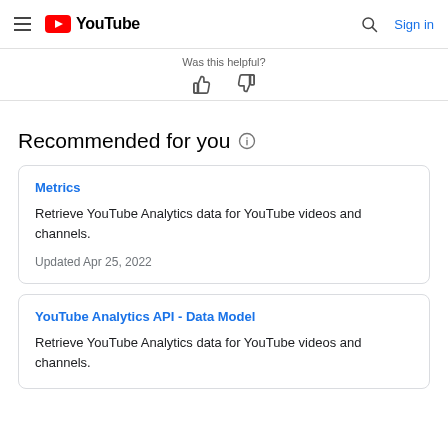YouTube — Sign in
Was this helpful?
Recommended for you
Metrics
Retrieve YouTube Analytics data for YouTube videos and channels.
Updated Apr 25, 2022
YouTube Analytics API - Data Model
Retrieve YouTube Analytics data for YouTube videos and channels.